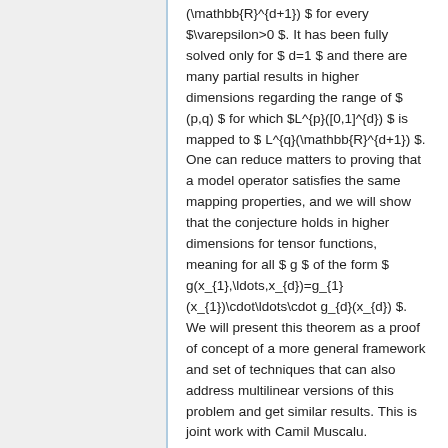(\mathbb{R}^{d+1}) $ for every $\varepsilon>0 $. It has been fully solved only for $ d=1 $ and there are many partial results in higher dimensions regarding the range of $ (p,q) $ for which $L^{p}([0,1]^{d}) $ is mapped to $ L^{q}(\mathbb{R}^{d+1}) $. One can reduce matters to proving that a model operator satisfies the same mapping properties, and we will show that the conjecture holds in higher dimensions for tensor functions, meaning for all $ g $ of the form $ g(x_{1},\ldots,x_{d})=g_{1}(x_{1})\cdot\ldots\cdot g_{d}(x_{d}) $. We will present this theorem as a proof of concept of a more general framework and set of techniques that can also address multilinear versions of this problem and get similar results. This is joint work with Camil Muscalu.